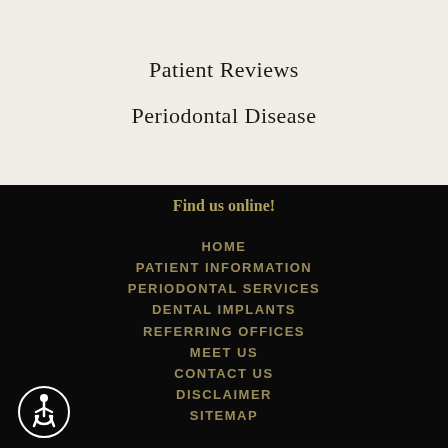Patient Reviews
Periodontal Disease
Find us online!
HOME
PATIENT INFORMATION
PERIODONTAL SERVICES
DENTAL IMPLANTS
REFERRING OFFICES
MEET US
CONTACT US
DISCLAIMER
SITEMAP
[Figure (illustration): Accessibility wheelchair icon in a circle]